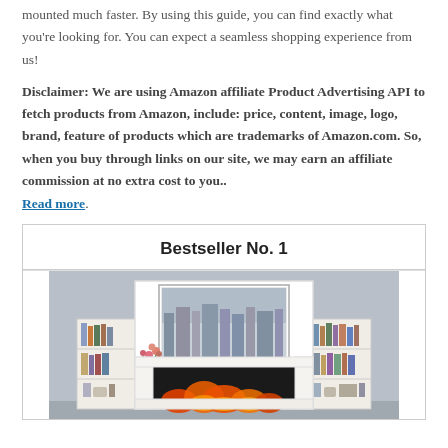mounted much faster. By using this guide, you can find exactly what you're looking for. You can expect a seamless shopping experience from us!
Disclaimer: We are using Amazon affiliate Product Advertising API to fetch products from Amazon, include: price, content, image, logo, brand, feature of products which are trademarks of Amazon.com. So, when you buy through links on our site, we may earn an affiliate commission at no extra cost to you.. Read more.
Bestseller No. 1
[Figure (photo): Photo of a white electric fireplace mantel with bookshelves on either side, a framed cityscape picture above, a vase of flowers, and glowing orange fire at the base.]